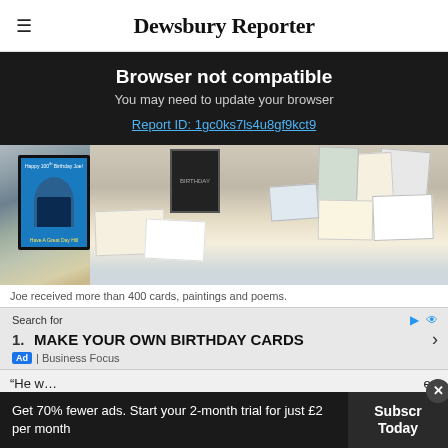Dewsbury Reporter
Browser not compatible
You may need to update your browser
Report ID: 1gc0ks7ls4u8gf9kct9
[Figure (photo): A table covered with birthday cards, paintings, envelopes and letters, including a blue birthday card saying 'Happy 100th Birthday Joe! Have A Great Day Hill']
Joe received more than 400 cards, paintings and poems.
Search for
1. MAKE YOUR OWN BIRTHDAY CARDS
Ad | Business Focus
“He w… ed
Get 70% fewer ads. Start your 2-month trial for just £2 per month
Subscr Today